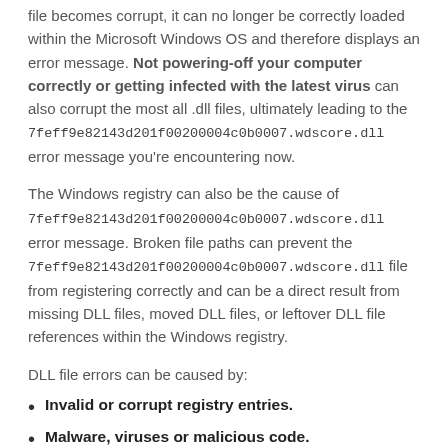file becomes corrupt, it can no longer be correctly loaded within the Microsoft Windows OS and therefore displays an error message. Not powering-off your computer correctly or getting infected with the latest virus can also corrupt the most all .dll files, ultimately leading to the 7feff9e82143d201f00200004c0b0007.wdscore.dll error message you're encountering now.
The Windows registry can also be the cause of 7feff9e82143d201f00200004c0b0007.wdscore.dll error message. Broken file paths can prevent the 7feff9e82143d201f00200004c0b0007.wdscore.dll file from registering correctly and can be a direct result from missing DLL files, moved DLL files, or leftover DLL file references within the Windows registry.
DLL file errors can be caused by:
Invalid or corrupt registry entries.
Malware, viruses or malicious code.
Hardware failure, for example; a faulty hard drive.